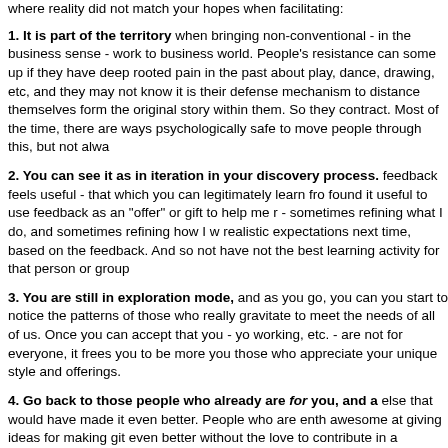where reality did not match your hopes when facilitating:
1. It is part of the territory when bringing non-conventional - in the business sense - work to business world. People's resistance can some up if they have deep rooted pain in the past about play, dance, drawing, etc, and they may not know it is their defense mechanism to distance themselves form the original story within them. So they contract. Most of the time, there are ways psychologically safe to move people through this, but not always.
2. You can see it as in iteration in your discovery process. feedback feels useful - that which you can legitimately learn from found it useful to use feedback as an "offer" or gift to help me r - sometimes refining what I do, and sometimes refining how I w realistic expectations next time, based on the feedback. And so not have not the best learning activity for that person or group
3. You are still in exploration mode, and as you go, you can you start to notice the patterns of those who really gravitate to meet the needs of all of us. Once you can accept that you - you working, etc. - are not for everyone, it frees you to be more you those who appreciate your unique style and offerings.
4. Go back to those people who already are for you, and as else that would have made it even better. People who are enthusiastic are awesome at giving ideas for making git even better without the love to contribute in a generative way. You can even ask them